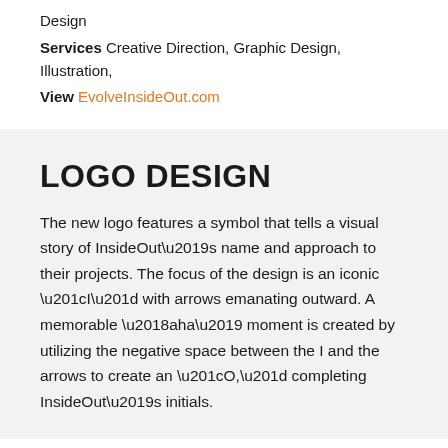Design
Services Creative Direction, Graphic Design, Illustration,
View EvolveInsideOut.com
LOGO DESIGN
The new logo features a symbol that tells a visual story of InsideOut’s name and approach to their projects. The focus of the design is an iconic “I” with arrows emanating outward. A memorable ‘aha’ moment is created by utilizing the negative space between the I and the arrows to create an “O,” completing InsideOut’s initials.